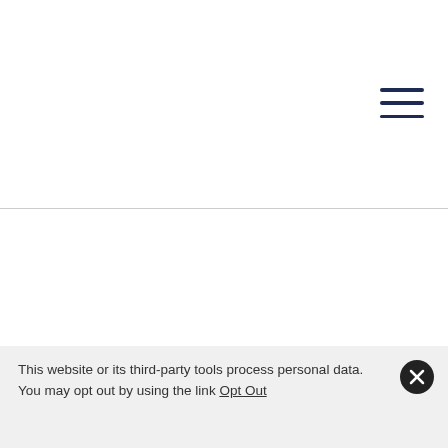[Figure (other): Hamburger menu icon — three horizontal dark navy lines stacked vertically, positioned in the upper-right area of the page]
This website or its third-party tools process personal data. You may opt out by using the link Opt Out